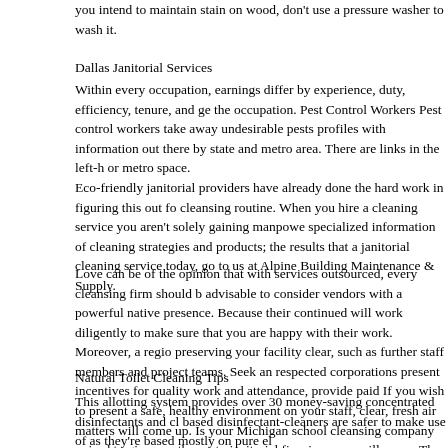you intend to maintain stain on wood, don't use a pressure washer to wash it.
Dallas Janitorial Services
Within every occupation, earnings differ by experience, duty, efficiency, tenure, and ge the occupation. Pest Control Workers Pest control workers take away undesirable pests profiles with information out there by state and metro area. There are links in the left-h or metro space.
Eco-friendly janitorial providers have already done the hard work in figuring this out f cleansing routine. When you hire a cleaning service you aren't solely gaining manpowe specialized information of cleaning strategies and products; the results that a janitorial cleaning service today, go to us at Alpine Building Maintenance & Supply.
Love can be of the opinion that with services outsourced, every cleansing firm should b advisable to consider vendors with a powerful native presence. Because their continued will work diligently to make sure that you are happy with their work. Moreover, a regio preserving your facility clear, such as further staff members and project teams. Seek an respected corporations present incentives for quality work and attendance, provide paid If you wish to present a safe, healthy environment on your staff, clear, fresh air matters will come up. Is your Michigan school cleansing company poised to give you the custo janitorial firm is, errors will occur. The greatest college cleaning corporations can adju rooms to your restrooms, your college janitorial services are charged with preserving y
Natural Toilet Cleaning Tips
This allotting system provides over 30 money-saving concentrated disinfectants and cl based disinfectant-cleaners are safer to make use of as they're based mostly on pure el